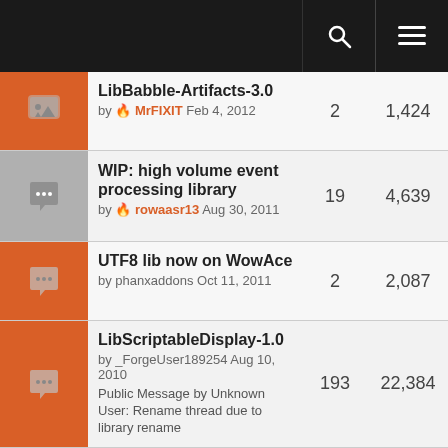[navigation bar with search and menu icons]
LibBabble-Artifacts-3.0 by MrFIXIT Feb 4, 2012 | replies: 2 | views: 1,424
WIP: high volume event processing library by rowaasr13 Aug 30, 2011 | replies: 19 | views: 4,639
UTF8 lib now on WowAce by phanxaddons Oct 11, 2011 | replies: 2 | views: 2,087
LibScriptableDisplay-1.0 by _ForgeUser189254 Aug 10, 2010 | Public Message by Unknown User: Rename thread due to library rename | replies: 193 | views: 22,384
LibDropdown-1.0 - A now working Ace3 dropdown library by DHedbor Nov 21, 2010 | replies: 35 | views: 9,970